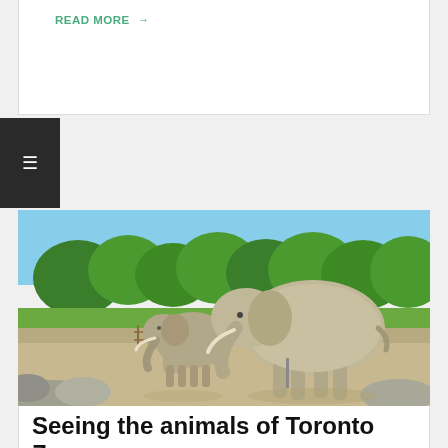READ MORE →
[Figure (photo): Two elephants standing in an open enclosure at Toronto Zoo, with green trees and rocks in the background on a sunny day.]
Seeing the animals of Toronto Zoo
BY: YNYSFORGAN_JACK | ON: JUNE 7, 2011 | IN: CANADA,